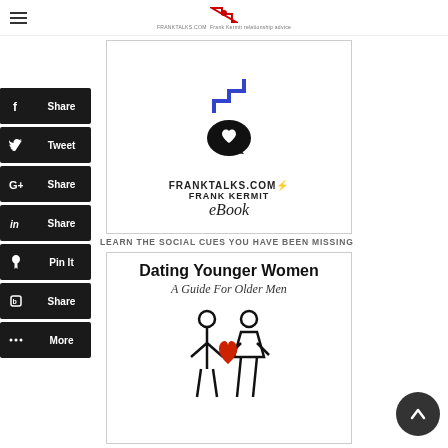FRANKTALKS.COM — Frank Kermit relationship advice
[Figure (screenshot): FrankTalks.com eBook cover with blue stairs logo, speech bubble heart icon, FRANKTALKS.COM, FRANK KERMIT, eBook text]
LEARN THE SOCIAL CUES YOU HAVE BEEN MISSING
[Figure (screenshot): Dating Younger Women: A Guide For Older Men — eBook cover with two stick figures and red heart]
[Figure (infographic): Social share sidebar with Facebook Share, Twitter Tweet, Google+ Share, LinkedIn Share, Pinterest Pin It, Blogger Share, More buttons]
[Figure (other): Scroll-up arrow button (dark circle with up chevron)]